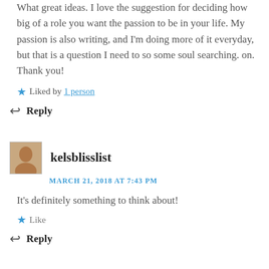What great ideas. I love the suggestion for deciding how big of a role you want the passion to be in your life. My passion is also writing, and I'm doing more of it everyday, but that is a question I need to so some soul searching. on. Thank you!
Liked by 1 person
Reply
kelsblisslist
MARCH 21, 2018 AT 7:43 PM
It's definitely something to think about!
Like
Reply